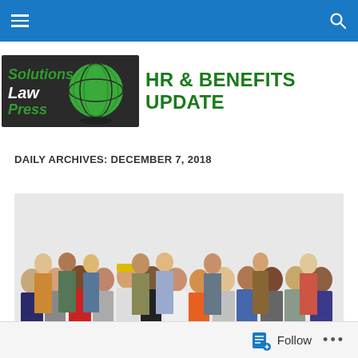Navigation bar with hamburger menu and search icon
[Figure (logo): Solutions Law Press logo with green globe graphic and dark background, alongside green bold text 'HR & BENEFITS UPDATE']
DAILY ARCHIVES: DECEMBER 7, 2018
[Figure (photo): Large group photo of diverse workforce employees in business and work attire]
Follow  ...